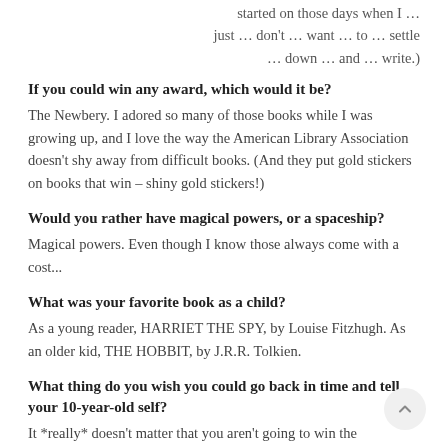started on those days when I … just … don't … want … to … settle … down … and … write.)
If you could win any award, which would it be?
The Newbery. I adored so many of those books while I was growing up, and I love the way the American Library Association doesn't shy away from difficult books. (And they put gold stickers on books that win – shiny gold stickers!)
Would you rather have magical powers, or a spaceship?
Magical powers. Even though I know those always come with a cost...
What was your favorite book as a child?
As a young reader, HARRIET THE SPY, by Louise Fitzhugh. As an older kid, THE HOBBIT, by J.R.R. Tolkien.
What thing do you wish you could go back in time and tell your 10-year-old self?
It *really* doesn't matter that you aren't going to win the